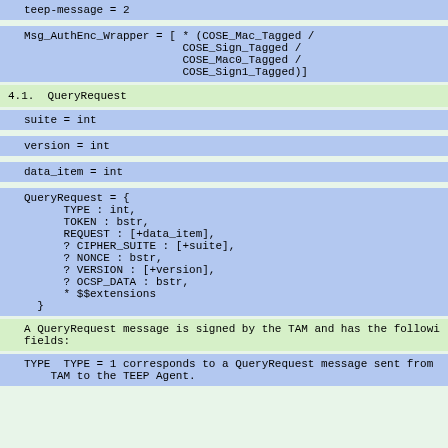4.1.  QueryRequest
A QueryRequest message is signed by the TAM and has the followi fields:
TYPE  TYPE = 1 corresponds to a QueryRequest message sent from TAM to the TEEP Agent.